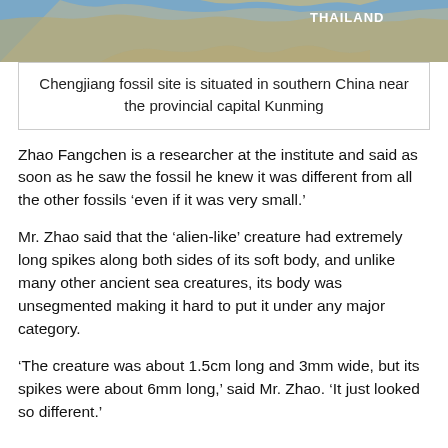[Figure (map): Partial map showing Thailand label in white bold text on a blue-grey geographic map background]
Chengjiang fossil site is situated in southern China near the provincial capital Kunming
Zhao Fangchen is a researcher at the institute and said as soon as he saw the fossil he knew it was different from all the other fossils ‘even if it was very small.’
Mr. Zhao said that the ‘alien-like’ creature had extremely long spikes along both sides of its soft body, and unlike many other ancient sea creatures, its body was unsegmented making it hard to put it under any major category.
‘The creature was about 1.5cm long and 3mm wide, but its spikes were about 6mm long,’ said Mr. Zhao. ‘It just looked so different.’